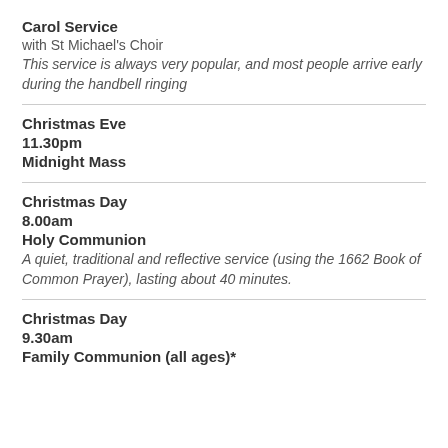Carol Service
with St Michael's Choir
This service is always very popular, and most people arrive early during the handbell ringing
Christmas Eve
11.30pm
Midnight Mass
Christmas Day
8.00am
Holy Communion
A quiet, traditional and reflective service (using the 1662 Book of Common Prayer), lasting about 40 minutes.
Christmas Day
9.30am
Family Communion (all ages)*